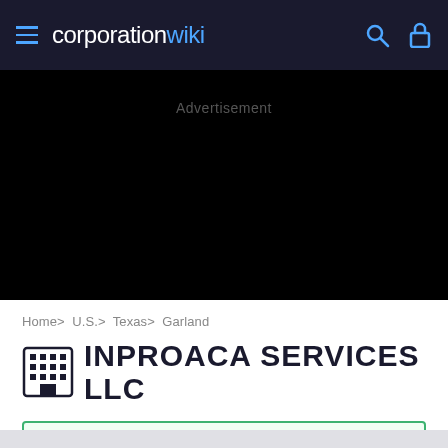corporation wiki
[Figure (screenshot): Black advertisement banner area with 'Advertisement' text label in dark gray]
Home> U.S.> Texas> Garland
INPROACA SERVICES LLC
Active
Garland, TX